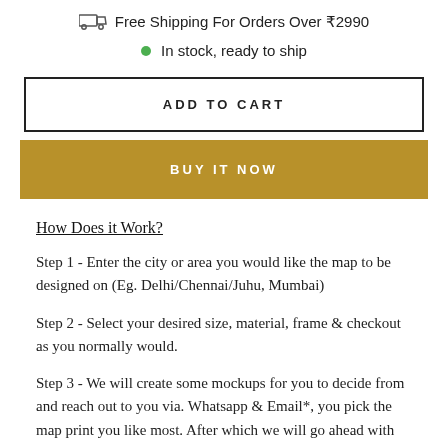Free Shipping For Orders Over ₹2990
In stock, ready to ship
ADD TO CART
BUY IT NOW
How Does it Work?
Step 1 - Enter the city or area you would like the map to be designed on (Eg. Delhi/Chennai/Juhu, Mumbai)
Step 2 - Select your desired size, material, frame & checkout as you normally would.
Step 3 - We will create some mockups for you to decide from and reach out to you via. Whatsapp & Email*, you pick the map print you like most. After which we will go ahead with